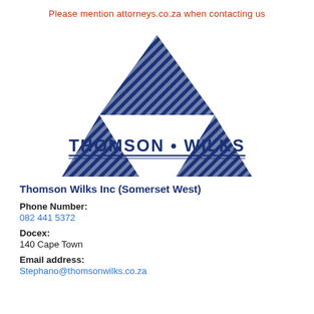Please mention attorneys.co.za when contacting us
[Figure (logo): Thomson Wilks logo: three dark navy blue triangles arranged in a triangular pattern with diagonal stripe highlights, forming a stylized W shape. Below the triangles, bold navy text reads THOMSON • WILKS with a double underline.]
Thomson Wilks Inc (Somerset West)
Phone Number:
082 441 5372
Docex:
140 Cape Town
Email address:
Stephano@thomsonwilks.co.za